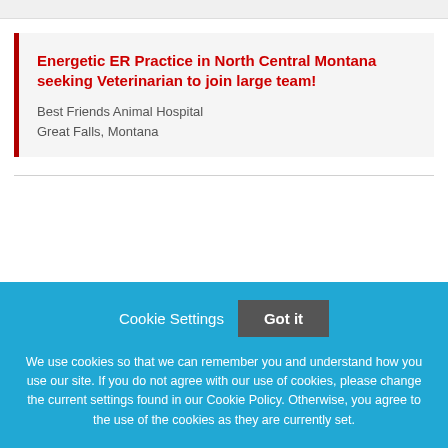Energetic ER Practice in North Central Montana seeking Veterinarian to join large team!
Best Friends Animal Hospital
Great Falls, Montana
Cookie Settings  Got it
We use cookies so that we can remember you and understand how you use our site. If you do not agree with our use of cookies, please change the current settings found in our Cookie Policy. Otherwise, you agree to the use of the cookies as they are currently set.